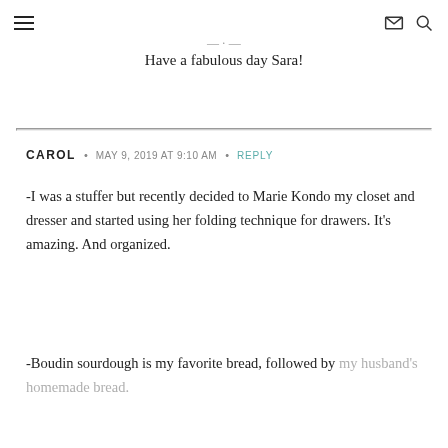≡   ✉ 🔍
Have a fabulous day Sara!
CAROL • MAY 9, 2019 AT 9:10 AM • REPLY
-I was a stuffer but recently decided to Marie Kondo my closet and dresser and started using her folding technique for drawers. It's amazing. And organized.
-Boudin sourdough is my favorite bread, followed by my husband's homemade bread.